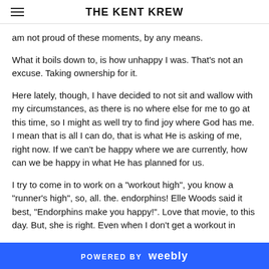THE KENT KREW
am not proud of these moments, by any means.
What it boils down to, is how unhappy I was. That's not an excuse. Taking ownership for it.
Here lately, though, I have decided to not sit and wallow with my circumstances, as there is no where else for me to go at this time, so I might as well try to find joy where God has me. I mean that is all I can do, that is what He is asking of me, right now. If we can't be happy where we are currently, how can we be happy in what He has planned for us.
I try to come in to work on a "workout high", you know a "runner's high", so, all. the. endorphins! Elle Woods said it best, "Endorphins make you happy!". Love that movie, to this day. But, she is right. Even when I don't get a workout in
POWERED BY weebly